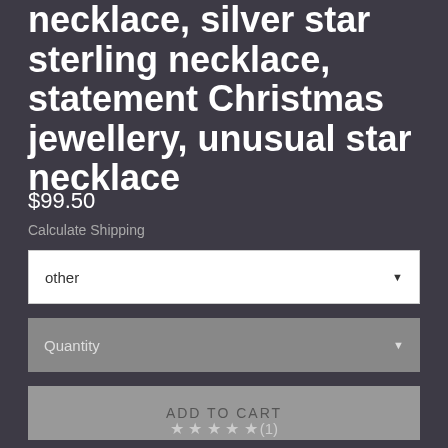necklace, silver star sterling necklace, statement Christmas jewellery, unusual star necklace
$99.50
Calculate Shipping
other
Quantity
ADD TO CART
★★★★★(1)